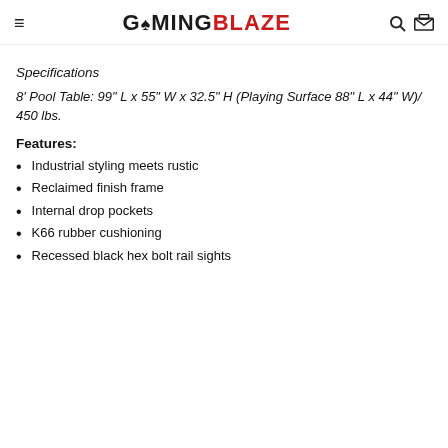GAMING BLAZE
Specifications
8' Pool Table: 99" L x 55" W x 32.5" H (Playing Surface 88" L x 44" W)/ 450 lbs.
Features:
Industrial styling meets rustic
Reclaimed finish frame
Internal drop pockets
K66 rubber cushioning
Recessed black hex bolt rail sights